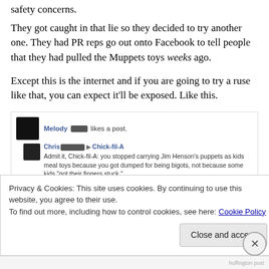safety concerns.
They got caught in that lie so they decided to try another one.  They had PR reps go out onto Facebook to tell people that they had pulled the Muppets toys weeks ago.
Except this is the internet and if you are going to try a ruse like that, you can expect it'll be exposed.  Like this.
[Figure (screenshot): Facebook screenshot showing Melody [redacted] likes a post, and Chris [redacted] posting to Chick-fil-A: 'Admit it, Chick-fil-A: you stopped carrying Jim Henson's puppets as kids meal toys because you got dumped for being bigots, not because some kids "got their fingers stuck."']
Privacy & Cookies: This site uses cookies. By continuing to use this website, you agree to their use.
To find out more, including how to control cookies, see here: Cookie Policy